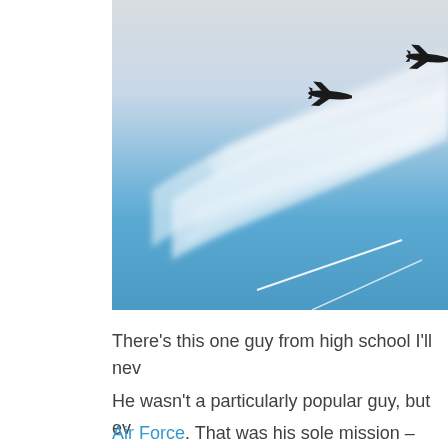[Figure (photo): Military jet fighters flying in formation against a blue sky with contrails/vapor trails streaking diagonally across the image. Two jet silhouettes visible in upper right corner.]
There’s this one guy from high school I’ll nev
He wasn’t a particularly popular guy, but ev
Air Force. That was his sole mission – most p